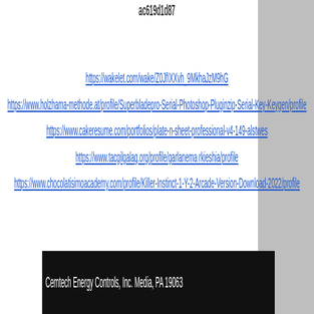ac619d1d87
https://wakelet.com/wake/Z0JfIXXvh_9MkhaJzM9hG
https://www.holzhama-methode.at/profile/Superbladepro-Serial-Photoshop-Pluginzip-Serial-Key-Keygen/profile
https://www.cakeresume.com/portfolios/plate-n-sheet-professional-v4-149-alstwes
https://www.tacgilgalag.org/profile/garlanema rkieshia/profile
https://www.chocolatisimoacademy.com/profile/Killer-Instinct-1-Y-2-Arcade-Version-Download-2022/profile
Cemtech Energy Controls, Inc. Media, PA 19063